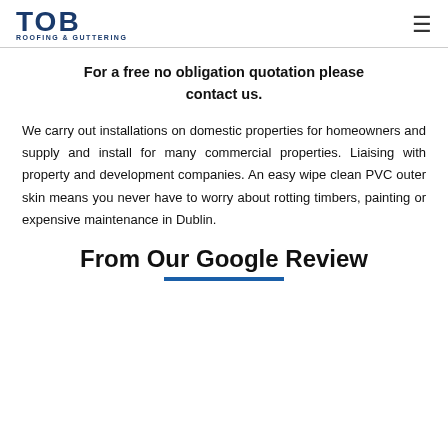TOB ROOFING & GUTTERING
For a free no obligation quotation please contact us.
We carry out installations on domestic properties for homeowners and supply and install for many commercial properties. Liaising with property and development companies. An easy wipe clean PVC outer skin means you never have to worry about rotting timbers, painting or expensive maintenance in Dublin.
From Our Google Review